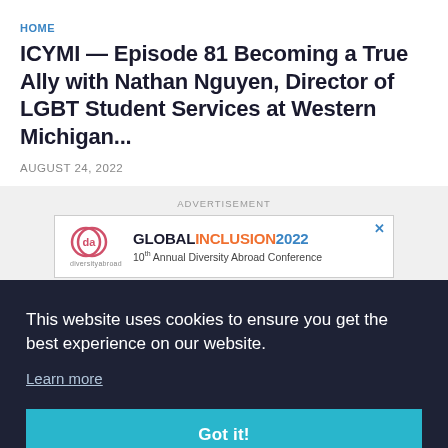HOME
ICYMI — Episode 81 Becoming a True Ally with Nathan Nguyen, Director of LGBT Student Services at Western Michigan...
AUGUST 24, 2022
ADVERTISEMENT
[Figure (infographic): Global Inclusion 2022 — 10th Annual Diversity Abroad Conference banner advertisement with logo]
This website uses cookies to ensure you get the best experience on our website.
Learn more
Got it!